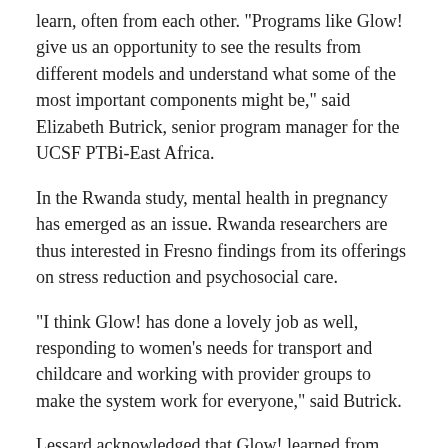learn, often from each other. “Programs like Glow! give us an opportunity to see the results from different models and understand what some of the most important components might be,” said Elizabeth Butrick, senior program manager for the UCSF PTBi-East Africa.
In the Rwanda study, mental health in pregnancy has emerged as an issue. Rwanda researchers are thus interested in Fresno findings from its offerings on stress reduction and psychosocial care.
“I think Glow! has done a lovely job as well, responding to women’s needs for transport and childcare and working with provider groups to make the system work for everyone,” said Butrick.
Lessard acknowledged that Glow! learned from Rwanda the importance of stakeholder involvement — from designing the program and through implementation.
“Stakeholder and community collaboration are critical,” said Butrick.  “We have partnered throughout with the government agency responsible for health care delivery nationwide in Rwanda.